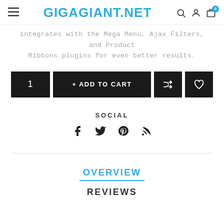GigaGiant.net
integrates with the Mega Menu, Ajax Filters, and Product Ribbons plugins for even better results.
[Figure (screenshot): Add to cart row with quantity box showing '1', '+ ADD TO CART' button, shuffle icon button, and heart/wishlist icon button, all in dark/black backgrounds]
SOCIAL
[Figure (infographic): Social media icons: Facebook, Twitter, Pinterest, RSS feed]
OVERVIEW
REVIEWS